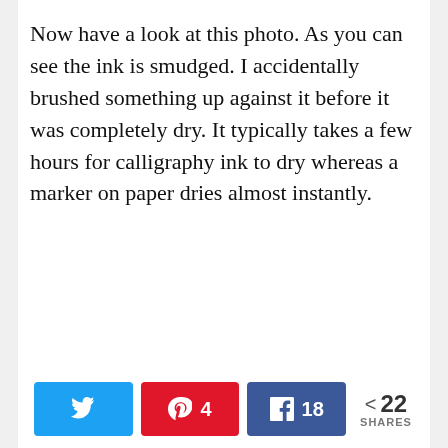Now have a look at this photo. As you can see the ink is smudged. I accidentally brushed something up against it before it was completely dry. It typically takes a few hours for calligraphy ink to dry whereas a marker on paper dries almost instantly.
[Figure (infographic): Social share bar with Twitter button (no count), Pinterest button with count 4, Facebook button with count 18, and a share count showing < 22 SHARES]